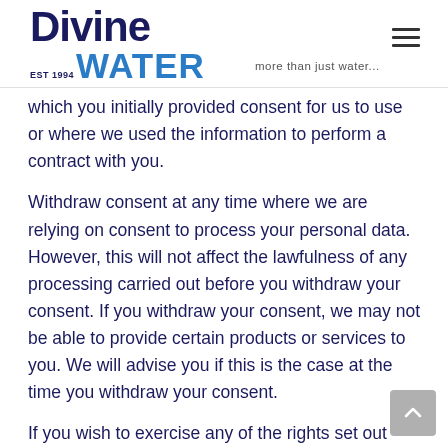Divine Water EST 1994 — more than just water...
which you initially provided consent for us to use or where we used the information to perform a contract with you.
Withdraw consent at any time where we are relying on consent to process your personal data. However, this will not affect the lawfulness of any processing carried out before you withdraw your consent. If you withdraw your consent, we may not be able to provide certain products or services to you. We will advise you if this is the case at the time you withdraw your consent.
If you wish to exercise any of the rights set out above, please contact us.